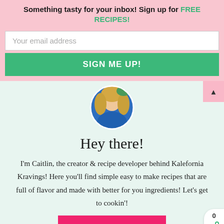Something tasty for your inbox! Sign up for FREE RECIPES!
Your email address
SIGN ME UP!
[Figure (photo): Circular avatar photo of a woman with blonde hair wearing a blue outfit, cropped in a circle]
Hey there!
I'm Caitlin, the creator & recipe developer behind Kalefornia Kravings! Here you'll find simple easy to make recipes that are full of flavor and made with better for you ingredients! Let's get to cookin'!
READ MORE